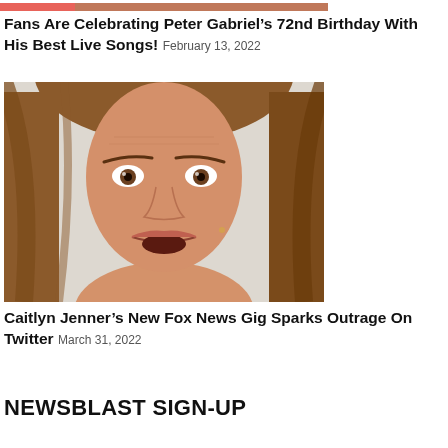[Figure (photo): Partial cropped image at top, showing warm reddish/orange tones]
Fans Are Celebrating Peter Gabriel’s 72nd Birthday With His Best Live Songs! February 13, 2022
[Figure (photo): Photo of Caitlyn Jenner with long auburn hair, surprised expression, white background]
Caitlyn Jenner’s New Fox News Gig Sparks Outrage On Twitter March 31, 2022
NEWSBLAST SIGN-UP